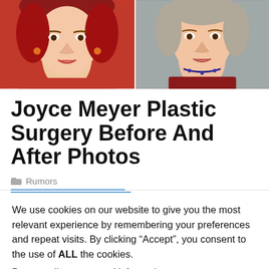[Figure (photo): Before and after comparison photos of Joyce Meyer, two side-by-side portrait images showing her at different times]
Joyce Meyer Plastic Surgery Before And After Photos
Rumors
We use cookies on our website to give you the most relevant experience by remembering your preferences and repeat visits. By clicking “Accept”, you consent to the use of ALL the cookies.
Do not sell my personal information.